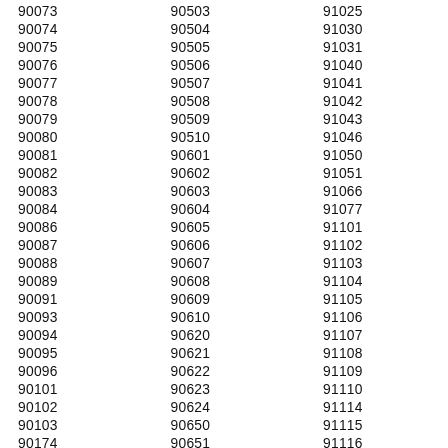| 90073 | 90503 | 91025 | 91326 |
| 90074 | 90504 | 91030 | 91327 |
| 90075 | 90505 | 91031 | 91328 |
| 90076 | 90506 | 91040 | 91329 |
| 90077 | 90507 | 91041 | 91330 |
| 90078 | 90508 | 91042 | 91331 |
| 90079 | 90509 | 91043 | 91333 |
| 90080 | 90510 | 91046 | 91334 |
| 90081 | 90601 | 91050 | 91335 |
| 90082 | 90602 | 91051 | 91337 |
| 90083 | 90603 | 91066 | 91340 |
| 90084 | 90604 | 91077 | 91341 |
| 90086 | 90605 | 91101 | 91342 |
| 90087 | 90606 | 91102 | 91343 |
| 90088 | 90607 | 91103 | 91344 |
| 90089 | 90608 | 91104 | 91345 |
| 90091 | 90609 | 91105 | 91346 |
| 90093 | 90610 | 91106 | 91350 |
| 90094 | 90620 | 91107 | 91351 |
| 90095 | 90621 | 91108 | 91352 |
| 90096 | 90622 | 91109 | 91353 |
| 90101 | 90623 | 91110 | 91354 |
| 90102 | 90624 | 91114 | 91355 |
| 90103 | 90650 | 91115 | 91356 |
| 90174 | 90651 | 91116 | 91357 |
| 90185 | 90652 | 91117 | 91358 |
| 90189 | 90659 | 91118 | 91359 |
| 90201 | 90660 | 91121 | 91360 |
| 90202 | 90661 | 91123 | 91361 |